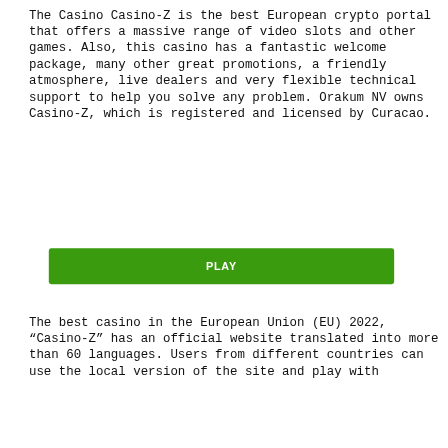The Casino Casino-Z is the best European crypto portal that offers a massive range of video slots and other games. Also, this casino has a fantastic welcome package, many other great promotions, a friendly atmosphere, live dealers and very flexible technical support to help you solve any problem. Orakum NV owns Casino-Z, which is registered and licensed by Curacao.
[Figure (other): Green rectangular button with white bold text 'PLAY']
The best casino in the European Union (EU) 2022, “Casino-Z” has an official website translated into more than 60 languages. Users from different countries can use the local version of the site and play with